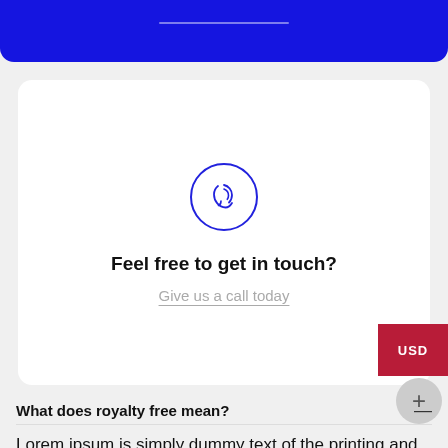[Figure (other): Blue banner at the top with a faint horizontal white line in the center]
[Figure (illustration): White card with a blue circular phone/ear icon in the center top]
Feel free to get in touch?
Give us a call today
USD
What does royalty free mean?
Lorem ipsum is simply dummy text of the printing and typesetting industry. Lorem ipsum has been